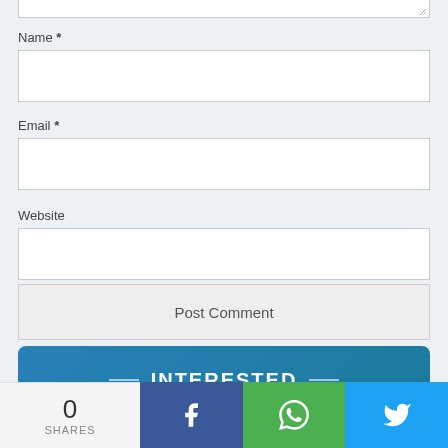[Figure (screenshot): Top portion of a textarea input field (bottom visible, with resize handle at bottom-right corner)]
Name *
[Figure (screenshot): Empty text input field for Name]
Email *
[Figure (screenshot): Empty text input field for Email]
Website
[Figure (screenshot): Empty text input field for Website]
[Figure (screenshot): Post Comment submit button]
INTERESTED
[Figure (screenshot): Social share bar with 0 shares, Facebook, WhatsApp, and Twitter buttons]